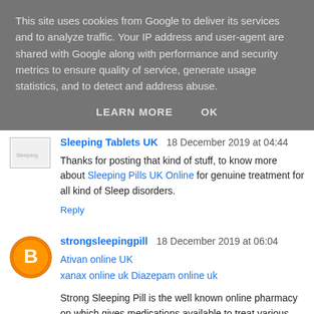This site uses cookies from Google to deliver its services and to analyze traffic. Your IP address and user-agent are shared with Google along with performance and security metrics to ensure quality of service, generate usage statistics, and to detect and address abuse.
LEARN MORE   OK
Sleeping Tablets UK  18 December 2019 at 04:44
Thanks for posting that kind of stuff, to know more about Sleeping Pills UK Online for genuine treatment for all kind of Sleep disorders.
Reply
strongsleepingpill  18 December 2019 at 06:04
Ativan online UK
xanax online uk Diazepam online uk
Strong Sleeping Pill is the well known online pharmacy on which gives medications available to treat various kinds of